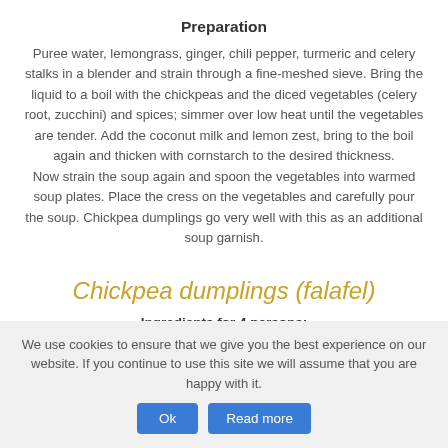Preparation
Puree water, lemongrass, ginger, chili pepper, turmeric and celery stalks in a blender and strain through a fine-meshed sieve. Bring the liquid to a boil with the chickpeas and the diced vegetables (celery root, zucchini) and spices; simmer over low heat until the vegetables are tender. Add the coconut milk and lemon zest, bring to the boil again and thicken with cornstarch to the desired thickness. Now strain the soup again and spoon the vegetables into warmed soup plates. Place the cress on the vegetables and carefully pour the soup. Chickpea dumplings go very well with this as an additional soup garnish.
Chickpea dumplings (falafel)
Ingredients for 4 persons:
We use cookies to ensure that we give you the best experience on our website. If you continue to use this site we will assume that you are happy with it.